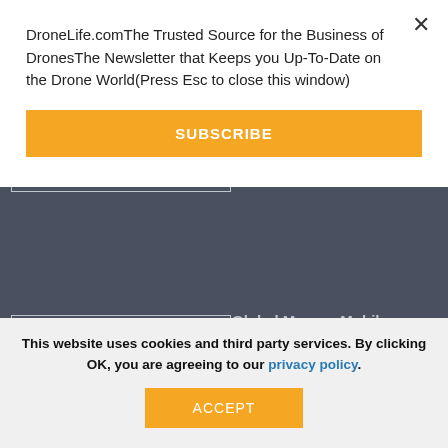[Figure (screenshot): Dark gray website background with white-bordered input boxes and partial 'Global Mapper Mobile:' title text visible]
DroneLife.comThe Trusted Source for the Business of DronesThe Newsletter that Keeps you Up-To-Date on the Drone World(Press Esc to close this window)
SUBSCRIBE
Global Mapper Mobile:
This website uses cookies and third party services. By clicking OK, you are agreeing to our privacy policy.
ACCEPT